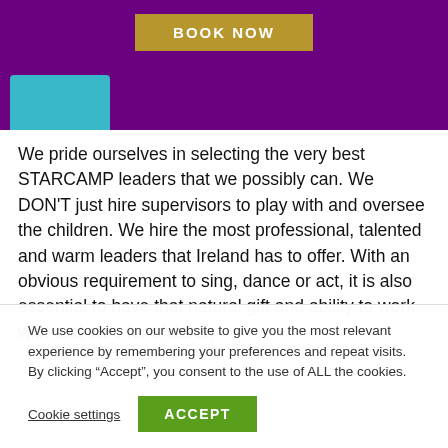[Figure (other): Purple header bar with a gold 'BOOK NOW' button and a partial teal/blue photo in the bottom-left corner]
We pride ourselves in selecting the very best STARCAMP leaders that we possibly can. We DON'T just hire supervisors to play with and oversee the children. We hire the most professional, talented and warm leaders that Ireland has to offer. With an obvious requirement to sing, dance or act, it is also essential to have that natural gift and ability to work with and care for children
We use cookies on our website to give you the most relevant experience by remembering your preferences and repeat visits. By clicking “Accept”, you consent to the use of ALL the cookies.
Cookie settings   ACCEPT